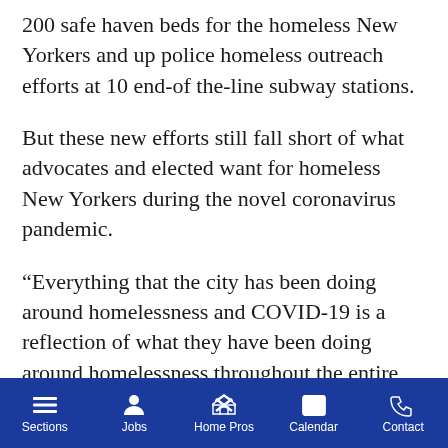200 safe haven beds for the homeless New Yorkers and up police homeless outreach efforts at 10 end-of the-line subway stations.
But these new efforts still fall short of what advocates and elected want for homeless New Yorkers during the novel coronavirus pandemic.
“Everything that the city has been doing around homelessness and COVID-19 is a reflection of what they have been doing around homelessness throughout the entire length of the de Blasio administration,” said VOCAL-NY Housing Campaign Coordinator Joe Loonam. “Allowing it to grow, allowing it to fester, offering half measures that don’t go far enough while people are really suffering.”
Sections | Jobs | Home Pros | Calendar | Contact